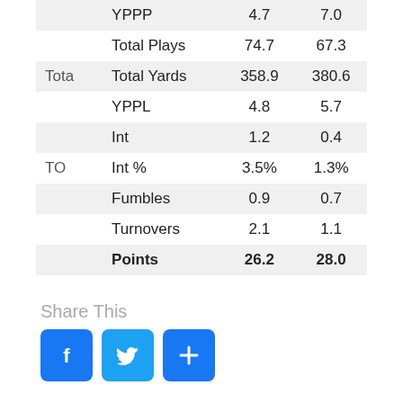|  |  | Col1 | Col2 |
| --- | --- | --- | --- |
|  | YPPP | 4.7 | 7.0 |
|  | Total Plays | 74.7 | 67.3 |
| Tota | Total Yards | 358.9 | 380.6 |
|  | YPPL | 4.8 | 5.7 |
|  | Int | 1.2 | 0.4 |
| TO | Int % | 3.5% | 1.3% |
|  | Fumbles | 0.9 | 0.7 |
|  | Turnovers | 2.1 | 1.1 |
|  | Points | 26.2 | 28.0 |
Share This